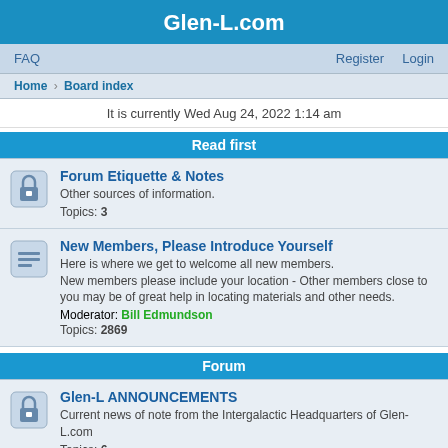Glen-L.com
FAQ    Register    Login
Home › Board index
It is currently Wed Aug 24, 2022 1:14 am
Read first
Forum Etiquette & Notes
Other sources of information.
Topics: 3
New Members, Please Introduce Yourself
Here is where we get to welcome all new members.
New members please include your location - Other members close to you may be of great help in locating materials and other needs.
Moderator: Bill Edmundson
Topics: 2869
Forum
Glen-L ANNOUNCEMENTS
Current news of note from the Intergalactic Headquarters of Glen-L.com
Topics: 6
Where (and HOW) to Post YOUR Photos
All about the Special Area we've created so everyone can easily find photos of your boat/build.
Topics: 1